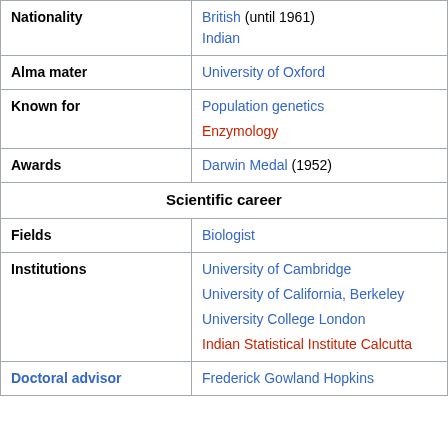| Field | Value |
| --- | --- |
| Nationality | British (until 1961)
Indian |
| Alma mater | University of Oxford |
| Known for | Population genetics
Enzymology |
| Awards | Darwin Medal (1952) |
| Scientific career |  |
| Fields | Biologist |
| Institutions | University of Cambridge
University of California, Berkeley
University College London
Indian Statistical Institute Calcutta |
| Doctoral advisor | Frederick Gowland Hopkins |